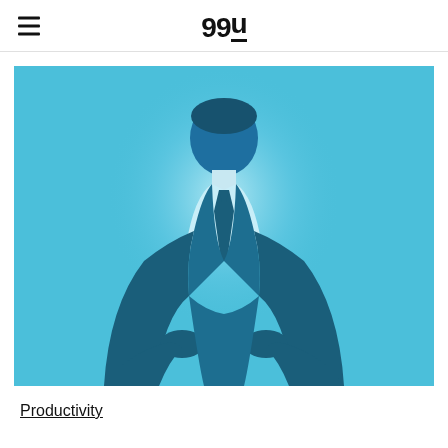99U
[Figure (illustration): Flat vector illustration of a silhouetted businessman in a dark suit with hands on hips, wearing a tie, against a light blue background with a radial glow behind the figure.]
Productivity